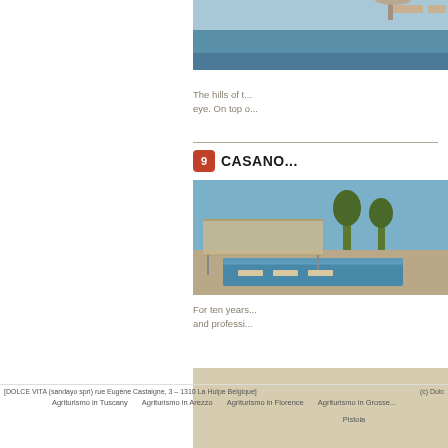[Figure (photo): Partial view of a swimming pool with lounge chairs, cropped on the right side of the page]
The hills of t... eye. On top o...
9 CASANO...
[Figure (photo): Exterior view of a property with pool and sun shades, Casanova agriturismo]
For ten years... and professi...
[Figure (other): Beige/tan information or booking box]
[DOLCE VITA (sandayo sprl) rue Eugène Castaigne, 3 – 1310 La Hulpe Belgique]    (c) Dolc...
Agriturismo in Tuscany    Agriturismo in Arezzo    Agriturismo in Florence    Agriturismo in Grosse... Pistoia